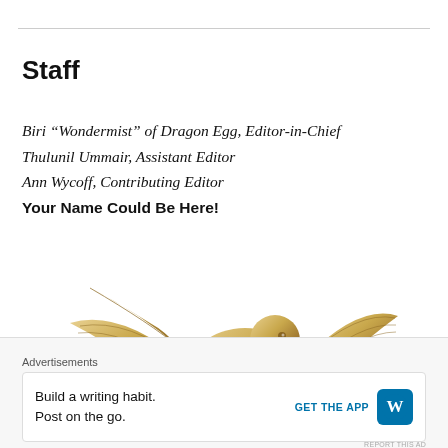Staff
Biri “Wondermist” of Dragon Egg, Editor-in-Chief
Thulunil Ummair, Assistant Editor
Ann Wycoff, Contributing Editor
Your Name Could Be Here!
[Figure (illustration): Gold decorative eagle illustration with wings spread and a feather/quill, rendered in golden metallic style]
Advertisements
Build a writing habit. Post on the go. GET THE APP [WordPress logo]